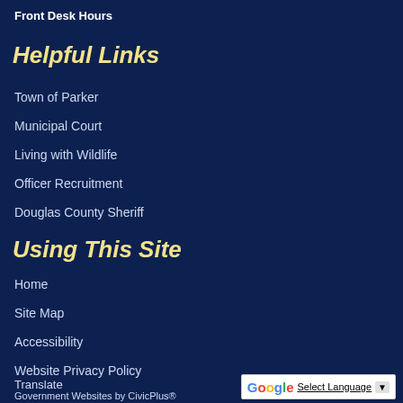Front Desk Hours
Helpful Links
Town of Parker
Municipal Court
Living with Wildlife
Officer Recruitment
Douglas County Sheriff
Using This Site
Home
Site Map
Accessibility
Website Privacy Policy
Translate
Government Websites by CivicPlus®
[Figure (other): Google Translate widget button with 'Select Language' text and dropdown arrow]